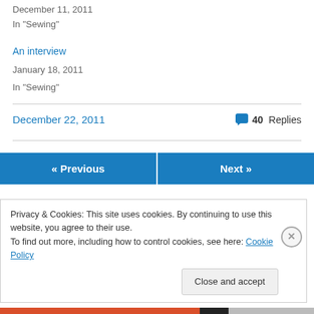December 11, 2011
In "Sewing"
An interview
January 18, 2011
In "Sewing"
December 22, 2011    40 Replies
« Previous
Next »
Privacy & Cookies: This site uses cookies. By continuing to use this website, you agree to their use.
To find out more, including how to control cookies, see here: Cookie Policy
Close and accept